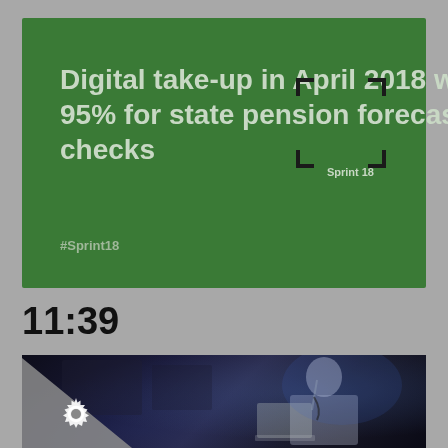[Figure (screenshot): Green presentation slide reading 'Digital take-up in April 2018 was 95% for state pension forecast checks' with Sprint 18 branding, corner bracket decoration, and #Sprint18 hashtag]
11:39
[Figure (photo): Dark conference photo showing a person speaking at a podium/lectern with a laptop, blue/purple stage lighting in background]